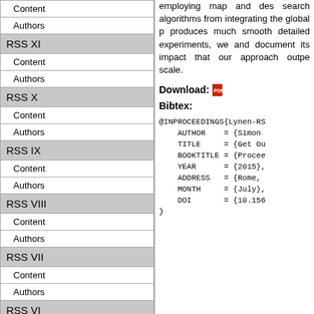| Content |
| Authors |
| RSS XI |
| Content |
| Authors |
| RSS X |
| Content |
| Authors |
| RSS IX |
| Content |
| Authors |
| RSS VIII |
| Content |
| Authors |
| RSS VII |
| Content |
| Authors |
| RSS VI |
| Content |
| Authors |
| RSS V |
| Content |
employing map and des search algorithms from integrating the global p produces much smooth detailed experiments, we and document its impact that our approach outpe scale.
Download:
Bibtex:
@INPROCEEDINGS{Lynen-RS
    AUTHOR    = {Simon 
    TITLE     = {Get Ou
    BOOKTITLE = {Procee
    YEAR      = {2015},
    ADDRESS   = {Rome, 
    MONTH     = {July},
    DOI       = {10.156
}